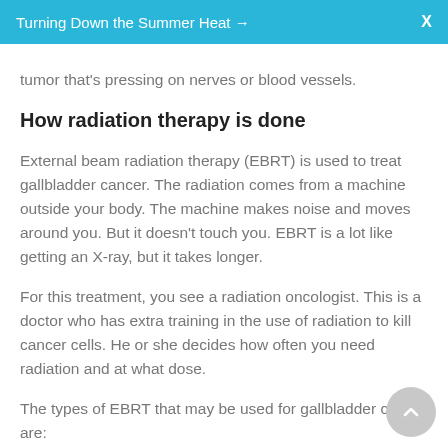Turning Down the Summer Heat →  X
tumor that's pressing on nerves or blood vessels.
How radiation therapy is done
External beam radiation therapy (EBRT) is used to treat gallbladder cancer. The radiation comes from a machine outside your body. The machine makes noise and moves around you. But it doesn't touch you. EBRT is a lot like getting an X-ray, but it takes longer.
For this treatment, you see a radiation oncologist. This is a doctor who has extra training in the use of radiation to kill cancer cells. He or she decides how often you need radiation and at what dose.
The types of EBRT that may be used for gallbladder cancer are: